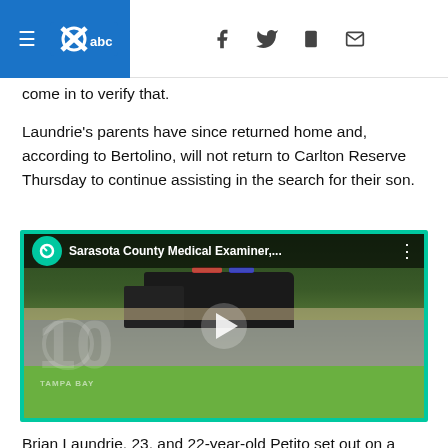WFTS ABC / Navigation header with social icons
come in to verify that.
Laundrie's parents have since returned home and, according to Bertolino, will not return to Carlton Reserve Thursday to continue assisting in the search for their son.
[Figure (screenshot): Embedded video player with green/teal border showing 'Sarasota County Medical Examiner,...' title, Channel 10 Tampa Bay logo, play button overlay, and video still of a dark truck on a road with trees in background.]
Brian Laundrie, 23, and 22-year-old Petito set out on a cross-country road trip in July in a van that police say was